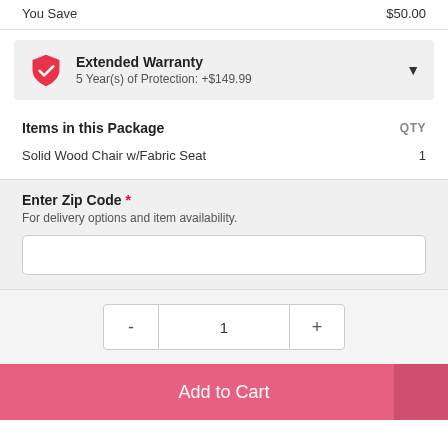You Save   $50.00
Extended Warranty
5 Year(s) of Protection: +$149.99
Items in this Package   QTY
Solid Wood Chair w/Fabric Seat   1
Enter Zip Code *
For delivery options and item availability.
- 1 +
Add to Cart